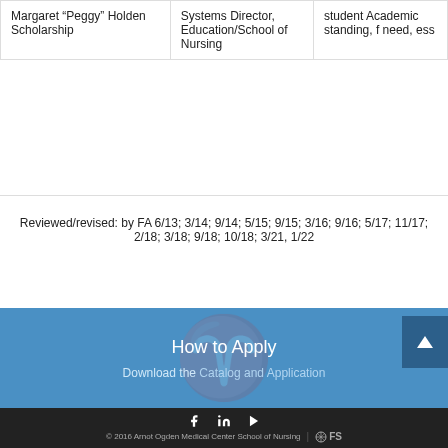| Scholarship | Contact | Criteria |
| --- | --- | --- |
| Margaret “Peggy” Holden Scholarship | Systems Director, Education/School of Nursing | student Academic standing, financial need, ess... |
Reviewed/revised: by FA 6/13; 3/14; 9/14; 5/15; 9/15; 3/16; 9/16; 5/17; 11/17; 2/18; 3/18; 9/18; 10/18; 3/21, 1/22
How to Apply
Download the Catalog and Application
© 2016 Arnot Ogden Medical Center School of Nursing